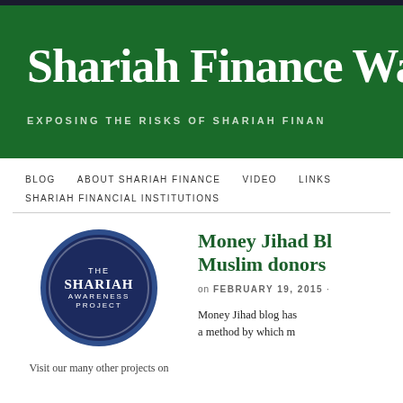[Figure (logo): Shariah Finance Watch website header banner with dark green background, large serif white title 'Shariah Finance Wa...' and subtitle 'EXPOSING THE RISKS OF SHARIAH FINAN...']
BLOG   ABOUT SHARIAH FINANCE   VIDEO   LINKS   SHARIAH FINANCIAL INSTITUTIONS
[Figure (logo): The Shariah Awareness Project circular badge/seal with dark navy blue background and white text]
Visit our many other projects on
Money Jihad Bl... Muslim donors...
on FEBRUARY 19, 2015 ·
Money Jihad blog has a method by which m...